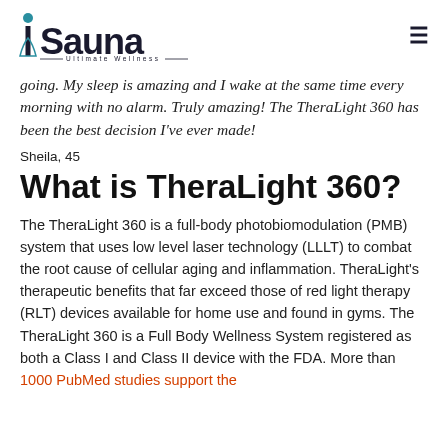iSauna — Ultimate Wellness —
going. My sleep is amazing and I wake at the same time every morning with no alarm. Truly amazing! The TheraLight 360 has been the best decision I've ever made!
Sheila, 45
What is TheraLight 360?
The TheraLight 360 is a full-body photobiomodulation (PMB) system that uses low level laser technology (LLLT) to combat the root cause of cellular aging and inflammation. TheraLight's therapeutic benefits that far exceed those of red light therapy (RLT) devices available for home use and found in gyms. The TheraLight 360 is a Full Body Wellness System registered as both a Class I and Class II device with the FDA. More than 1000 PubMed studies support the